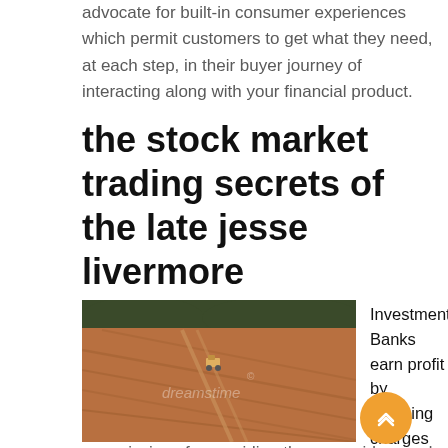advocate for built-in consumer experiences which permit customers to get what they need, at each step, in their buyer journey of interacting along with your financial product.
the stock market trading secrets of the late jesse livermore
[Figure (photo): Aerial view of an agricultural field being tilled by a tractor, with red-brown soil and green trees/vegetation border. Dreamstime watermark visible.]
Investment Banks earn profit by charging charges and commissions for providing these providers and